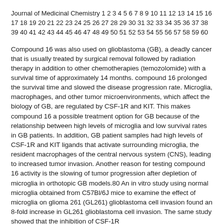Journal of Medicinal Chemistry 1 2 3 4 5 6 7 8 9 10 11 12 13 14 15 16 17 18 19 20 21 22 23 24 25 26 27 28 29 30 31 32 33 34 35 36 37 38 39 40 41 42 43 44 45 46 47 48 49 50 51 52 53 54 55 56 57 58 59 60
Compound 16 was also used on glioblastoma (GB), a deadly cancer that is usually treated by surgical removal followed by radiation therapy in addition to other chemotherapies (temozolomide) with a survival time of approximately 14 months. compound 16 prolonged the survival time and slowed the disease progression rate. Microglia, macrophages, and other tumor microenvironments, which affect the biology of GB, are regulated by CSF-1R and KIT. This makes compound 16 a possible treatment option for GB because of the relationship between high levels of microglia and low survival rates in GB patients. In addition, GB patient samples had high levels of CSF-1R and KIT ligands that activate surrounding microglia, the resident macrophages of the central nervous system (CNS), leading to increased tumor invasion. Another reason for testing compound 16 activity is the slowing of tumor progression after depletion of microglia in orthotopic GB models.80 An in vitro study using normal microglia obtained from C57Bl/6J mice to examine the effect of microglia on glioma 261 (GL261) glioblastoma cell invasion found an 8-fold increase in GL261 glioblastoma cell invasion. The same study showed that the inhibition of CSF-1R